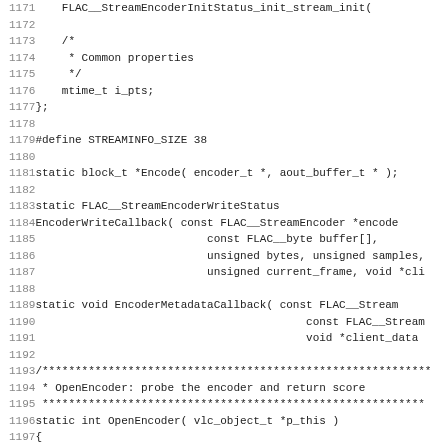Source code listing, lines 1171–1203, C language FLAC encoder